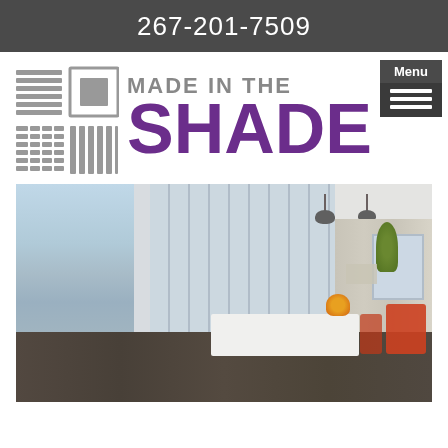267-201-7509
[Figure (logo): Made in the Shade logo with window blind icons and Menu button overlay]
[Figure (photo): Office interior with floor-to-ceiling window shades/blinds, white desk, orange chairs, ocean view]